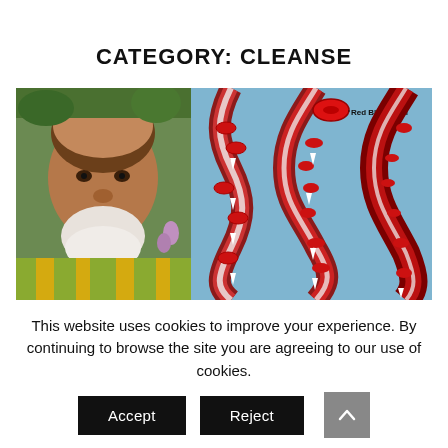CATEGORY: CLEANSE
[Figure (illustration): Composite image: left side shows an elderly Black man with white beard smiling, wearing a colorful green/yellow patterned shirt, with green foliage background. Right side shows a medical illustration of blood vessels with red blood cells flowing through them, labeled 'Red Blood Cell', showing healthy and constricted vessel cross-sections on a blue background.]
This website uses cookies to improve your experience. By continuing to browse the site you are agreeing to our use of cookies.